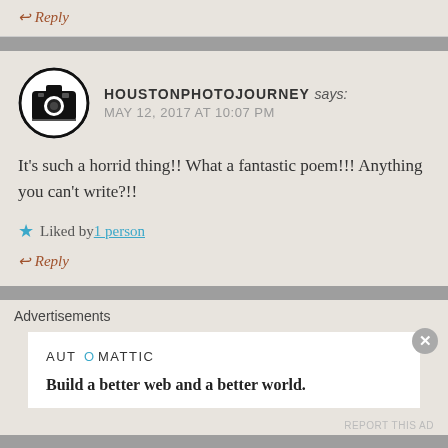↩ Reply
HOUSTONPHOTOJOURNEY says: MAY 12, 2017 AT 10:07 PM
It's such a horrid thing!! What a fantastic poem!!! Anything you can't write?!!
★ Liked by 1 person
↩ Reply
Advertisements
[Figure (logo): Automattic logo with colored O]
Build a better web and a better world.
REPORT THIS AD